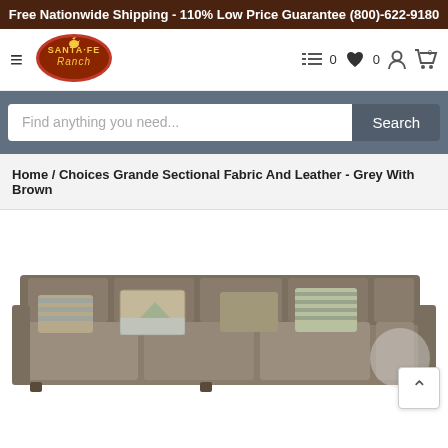Free Nationwide Shipping - 110% Low Price Guarantee (800)-622-9180
[Figure (logo): Santa Fe Ranch furniture store logo with rooster icon]
≡  ☰  ♥ 0  👤  🛒 0
Find anything you need...
Search
Home / Choices Grande Sectional Fabric And Leather - Grey With Brown
[Figure (photo): Grey and brown sectional sofa with decorative pillows, partially visible at bottom of page]